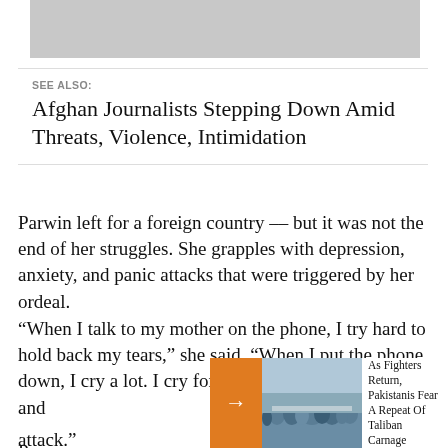[Figure (photo): Gray image area at top of page, partially visible]
SEE ALSO:
Afghan Journalists Stepping Down Amid Threats, Violence, Intimidation
Parwin left for a foreign country –– but it was not the end of her struggles. She grapples with depression, anxiety, and panic attacks that were triggered by her ordeal.
“When I talk to my mother on the phone, I try hard to hold back my tears,” she said. “When I put the phone down, I cry a lot. I cry for my family, my homeland, and
[Figure (photo): Crowd of people at a rally or gathering, with an orange arrow button overlay and text reading: As Fighters Return, Pakistanis Fear A Repeat Of Taliban Carnage]
attack.”
Pa...